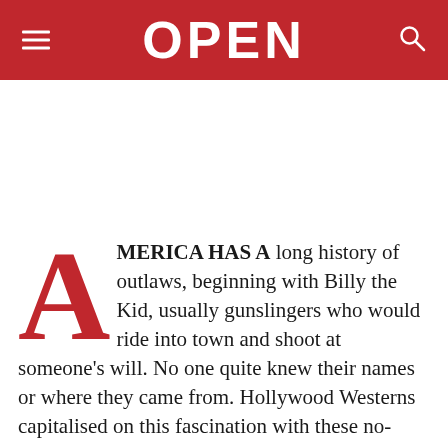OPEN
AMERICA HAS A long history of outlaws, beginning with Billy the Kid, usually gunslingers who would ride into town and shoot at someone's will. No one quite knew their names or where they came from. Hollywood Westerns capitalised on this fascination with these no-name cowboys and later movie characters such